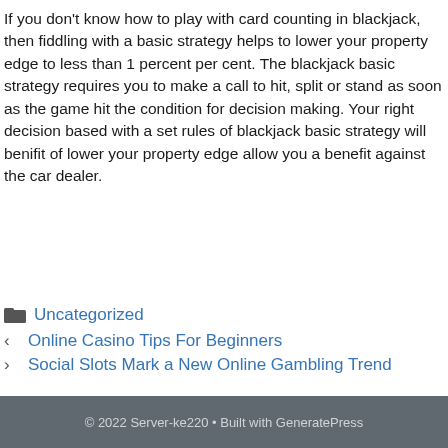If you don't know how to play with card counting in blackjack, then fiddling with a basic strategy helps to lower your property edge to less than 1 percent per cent. The blackjack basic strategy requires you to make a call to hit, split or stand as soon as the game hit the condition for decision making. Your right decision based with a set rules of blackjack basic strategy will benifit of lower your property edge allow you a benefit against the car dealer.
Uncategorized
Online Casino Tips For Beginners
Social Slots Mark a New Online Gambling Trend
© 2022 Server-ke220 • Built with GeneratePress